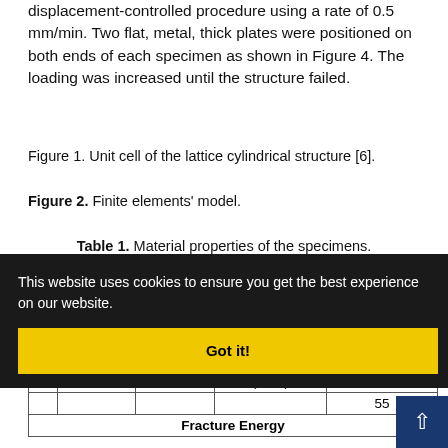displacement-controlled procedure using a rate of 0.5 mm/min. Two flat, metal, thick plates were positioned on both ends of each specimen as shown in Figure 4. The loading was increased until the structure failed.
Figure 1. Unit cell of the lattice cylindrical structure [6].
Figure 2. Finite elements' model.
Table 1. Material properties of the specimens.
|  | Elastic Modulus |  |  | G12 (GPa) |
| --- | --- | --- | --- | --- |
|  | E11 | E22 |  | G12 (GPa) |
|  |  |  |  | 4.6 |
|  |  |  |  |  |
|  |  |  | S (MPa) |  |
|  |  |  |  | 55 |
|  | Fracture Energy |  |  |  |